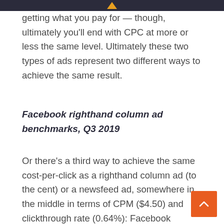getting what you pay for — though, ultimately you'll end with CPC at more or less the same level. Ultimately these two types of ads represent two different ways to achieve the same result.
Facebook righthand column ad benchmarks, Q3 2019
Or there's a third way to achieve the same cost-per-click as a righthand column ad (to the cent) or a newsfeed ad, somewhere in the middle in terms of CPM ($4.50) and clickthrough rate (0.64%): Facebook Marketplace ads.